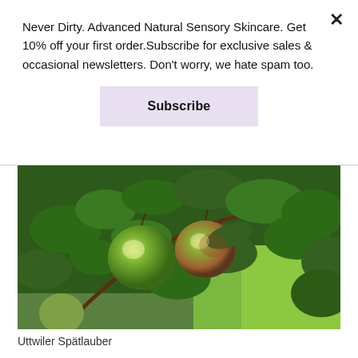Never Dirty. Advanced Natural Sensory Skincare. Get 10% off your first order.Subscribe for exclusive sales & occasional newsletters. Don't worry, we hate spam too.
Subscribe
[Figure (photo): Photo of Uttwiler Spätlauber apples on a tree branch with green leaves and grass in the background]
Uttwiler Spätlauber
Swiss Apple, Uttwiler Spätlauber (Malus Domestica), is an